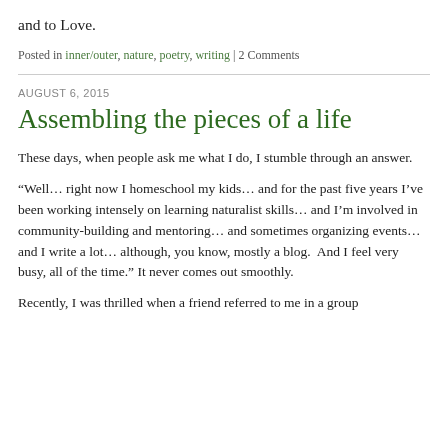and to Love.
Posted in inner/outer, nature, poetry, writing | 2 Comments
AUGUST 6, 2015
Assembling the pieces of a life
These days, when people ask me what I do, I stumble through an answer.
“Well… right now I homeschool my kids… and for the past five years I’ve been working intensely on learning naturalist skills… and I’m involved in community-building and mentoring… and sometimes organizing events… and I write a lot… although, you know, mostly a blog.  And I feel very busy, all of the time.” It never comes out smoothly.
Recently, I was thrilled when a friend referred to me in a group